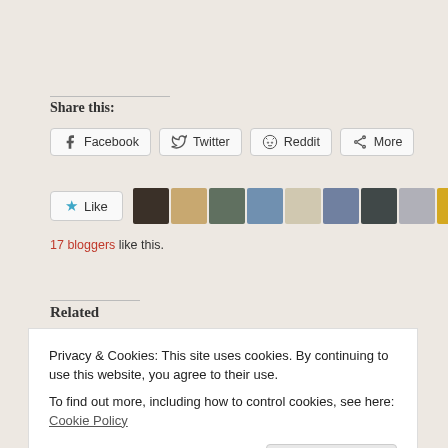Share this:
Facebook
Twitter
Reddit
More
17 bloggers like this.
Related
[Figure (photo): Related post thumbnail left]
[Figure (photo): Related post thumbnail right]
Privacy & Cookies: This site uses cookies. By continuing to use this website, you agree to their use.
To find out more, including how to control cookies, see here: Cookie Policy
Close and accept
April 17, 2018
Slime Play